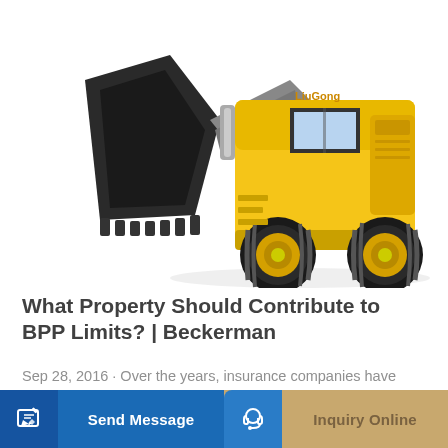[Figure (photo): Yellow LiuGong front-end loader / wheel loader construction machine photographed on white background, showing large black bucket in foreground and yellow body with black tires.]
What Property Should Contribute to BPP Limits? | Beckerman
Sep 28, 2016 · Over the years, insurance companies have developed great insurance tools to ensure business owners are up and running quickly after a loss. Business...
Learn More
Send Message
Inquiry Online